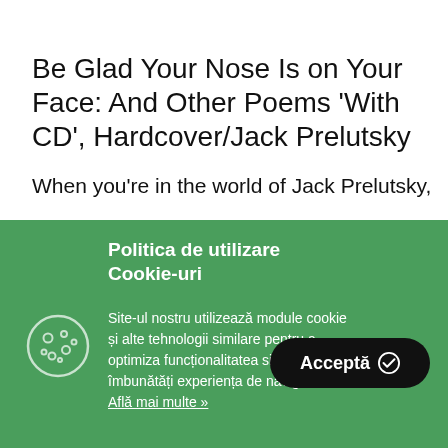Be Glad Your Nose Is on Your Face: And Other Poems 'With CD', Hardcover/Jack Prelutsky
When you're in the world of Jack Prelutsky,
Politica de utilizare Cookie-uri
Site-ul nostru utilizează module cookie și alte tehnologii similare pentru a optimiza funcționalitatea si a îmbunătăți experiența de navigare.
Află mai multe »
Acceptă